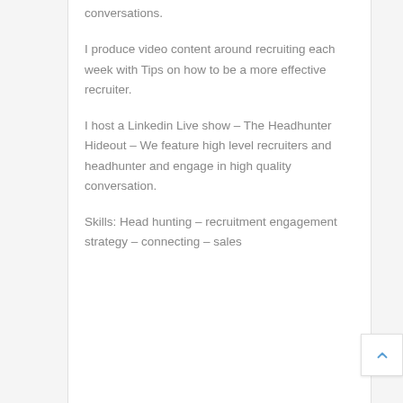conversations.
I produce video content around recruiting each week with Tips on how to be a more effective recruiter.
I host a Linkedin Live show – The Headhunter Hideout – We feature high level recruiters and headhunter and engage in high quality conversation.
Skills: Head hunting – recruitment engagement strategy – connecting – sales